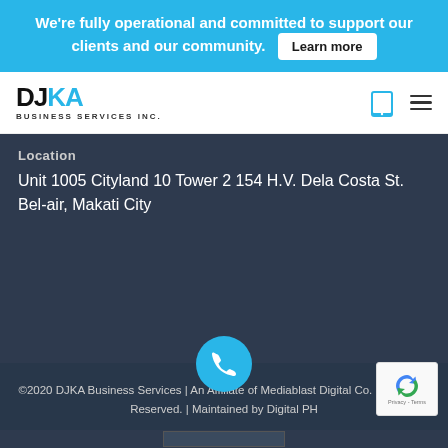We're fully operational and committed to support our clients and our community. Learn more
[Figure (logo): DJKA Business Services Inc. logo — bold DJKA letters with tagline BUSINESS SERVICES INC.]
Location
Unit 1005 Cityland 10 Tower 2 154 H.V. Dela Costa St. Bel-air, Makati City
©2020 DJKA Business Services | An Affiliate of Mediablast Digital Co. | All Rights Reserved. | Maintained by Digital PH